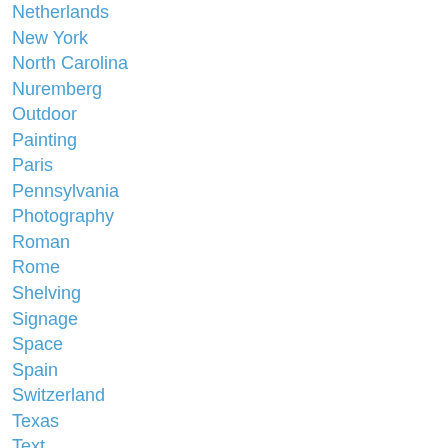Netherlands
New York
North Carolina
Nuremberg
Outdoor
Painting
Paris
Pennsylvania
Photography
Roman
Rome
Shelving
Signage
Space
Spain
Switzerland
Texas
Text
Turkey
UK
USA